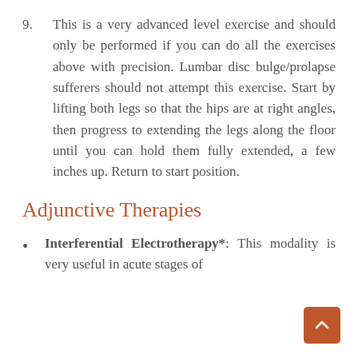9. This is a very advanced level exercise and should only be performed if you can do all the exercises above with precision. Lumbar disc bulge/prolapse sufferers should not attempt this exercise. Start by lifting both legs so that the hips are at right angles, then progress to extending the legs along the floor until you can hold them fully extended, a few inches up. Return to start position.
Adjunctive Therapies
Interferential Electrotherapy*: This modality is very useful in acute stages of